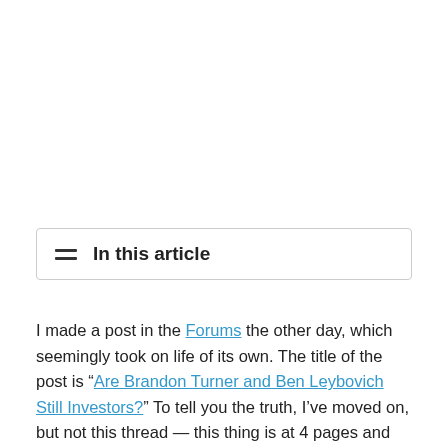In this article
I made a post in the Forums the other day, which seemingly took on life of its own. The title of the post is “Are Brandon Turner and Ben Leybovich Still Investors?” To tell you the truth, I’ve moved on, but not this thread — this thing is at 4 pages and isn’t looking like it wants to quit just yet.